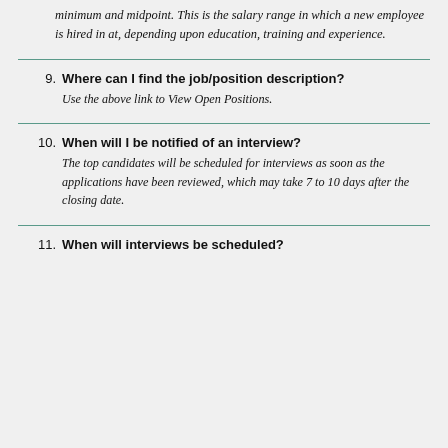minimum and midpoint. This is the salary range in which a new employee is hired in at, depending upon education, training and experience.
9. Where can I find the job/position description? Use the above link to View Open Positions.
10. When will I be notified of an interview? The top candidates will be scheduled for interviews as soon as the applications have been reviewed, which may take 7 to 10 days after the closing date.
11. When will interviews be scheduled?